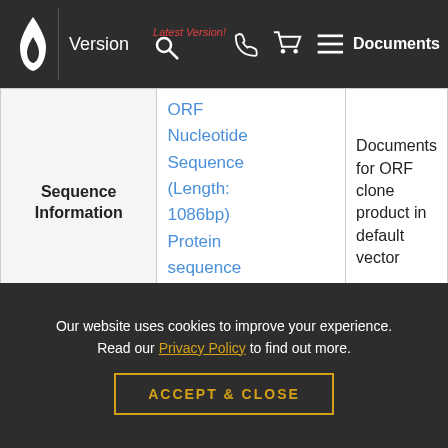Version | Latest Version! | Documents
|  | Links | Document |
| --- | --- | --- |
| Sequence Information | ORF Nucleotide Sequence (Length: 1086bp)
Protein sequence
SNP | Documents for ORF clone product in default vector |
| Vector | pcDNA3.1-C-(k)DYK or customized vector | User Manual |
Our website uses cookies to improve your experience. Read our Privacy Policy to find out more.
ACCEPT & CLOSE